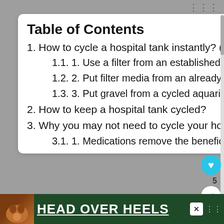Table of Contents
1. How to cycle a hospital tank instantly? (3 Easy ways)
1.1. 1. Use a filter from an established or cycled aquarium
1.2. 2. Put filter media from an already cycled aquarium in the hospital tank
1.3. 3. Put gravel from a cycled aquarium in your hospital tank.
2. How to keep a hospital tank cycled?
3. Why you may not need to cycle your hospital tank?
3.1. 1. Medications remove the beneficial bacteria
[Figure (screenshot): Web page table of contents with sidebar UI elements including heart/share buttons, 'What's Next' widget, and a green advertisement banner for 'Head Over Heels' at the bottom.]